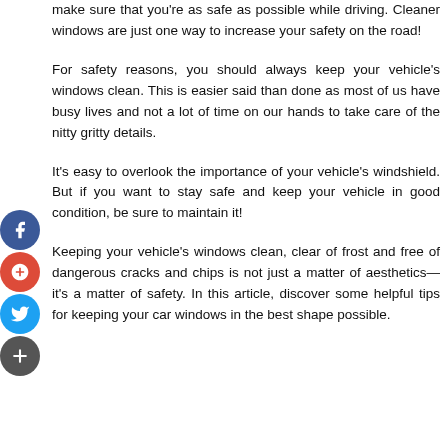make sure that you're as safe as possible while driving. Cleaner windows are just one way to increase your safety on the road!
For safety reasons, you should always keep your vehicle's windows clean. This is easier said than done as most of us have busy lives and not a lot of time on our hands to take care of the nitty gritty details.
It's easy to overlook the importance of your vehicle's windshield. But if you want to stay safe and keep your vehicle in good condition, be sure to maintain it!
Keeping your vehicle's windows clean, clear of frost and free of dangerous cracks and chips is not just a matter of aesthetics—it's a matter of safety. In this article, discover some helpful tips for keeping your car windows in the best shape possible.